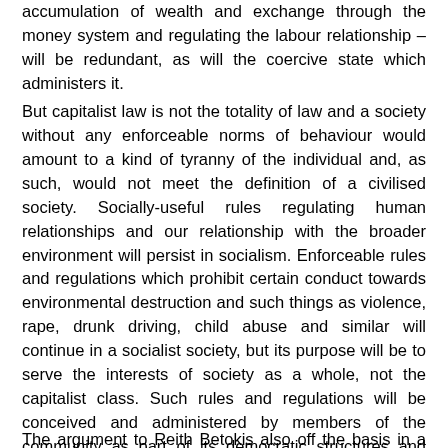accumulation of wealth and exchange through the money system and regulating the labour relationship – will be redundant, as will the coercive state which administers it.
But capitalist law is not the totality of law and a society without any enforceable norms of behaviour would amount to a kind of tyranny of the individual and, as such, would not meet the definition of a civilised society. Socially-useful rules regulating human relationships and our relationship with the broader environment will persist in socialism. Enforceable rules and regulations which prohibit certain conduct towards environmental destruction and such things as violence, rape, drunk driving, child abuse and similar will continue in a socialist society, but its purpose will be to serve the interests of society as a whole, not the capitalist class. Such rules and regulations will be conceived and administered by members of the community as part of its democratic structures and adjudicated by ordinary people, perhaps through an expansion of the jury system, or similar. They will not be punitive, but rather restorative and rehabilitative to facilitate social inclusion.
The argument to Reith Betokis also off the basis in a subject